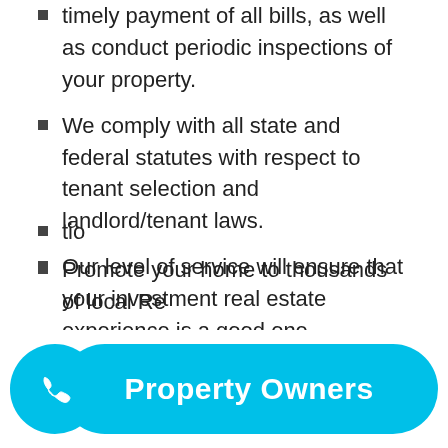timely payment of all bills, as well as conduct periodic inspections of your property.
We comply with all state and federal statutes with respect to tenant selection and landlord/tenant laws.
Our level of service will ensure that your investment real estate experience is a good one.
Superior Marketing
Professionally advertise your properties on our Web sites, Craigslist, and over 100 other Web sites. Through our Property Management System.
Make your...tion...
Promote your home to thousands of local Re...